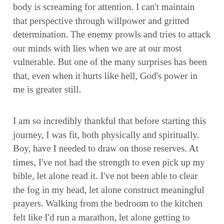body is screaming for attention. I can't maintain that perspective through willpower and gritted determination. The enemy prowls and tries to attack our minds with lies when we are at our most vulnerable. But one of the many surprises has been that, even when it hurts like hell, God's power in me is greater still.
I am so incredibly thankful that before starting this journey, I was fit, both physically and spiritually. Boy, have I needed to draw on those reserves. At times, I've not had the strength to even pick up my bible, let alone read it. I've not been able to clear the fog in my head, let alone construct meaningful prayers. Walking from the bedroom to the kitchen felt like I'd run a marathon, let alone getting to Church. None of that has mattered.  God still found a way.